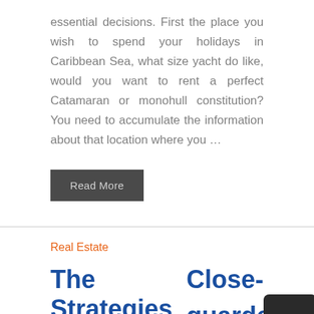essential decisions. First the place you wish to spend your holidays in Caribbean Sea, what size yacht do like, would you want to rent a perfect Catamaran or monohull constitution? You need to accumulate the information about that location where you …
Read More
Real Estate
The Strategies
Close-guarded of Flat